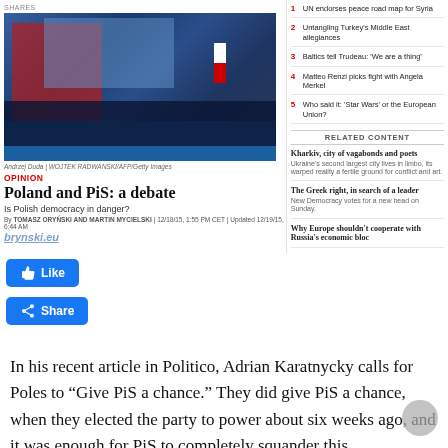SHARES
[Figure (photo): Andrzej Duda speaking at a podium on a blue-lit stage with audience in foreground and screens behind showing his image]
Andrzej Duda | WOJTEK RADWANSKI/AFP/Getty Images
OPINION
Poland and PiS: a debate
Is Polish democracy in danger?
By TOMASZ ORYŃSKI AND MARTIN MYCIELSKI | 12/18/15, 1:55 PM CET | Updated 12/19/15, 6:44 AM
brynski.eu
1 UN endorses peace road map for Syria
2 Untangling Turkey's Middle East allegiances
3 Baltics tell Trudeau: 'We are a thing'
4 Matteo Renzi picks fight with Angela Merkel
5 Who said it: 'Star Wars' or the European Union?
RELATED CONTENT
Kharkiv, city of vagabonds and poets
Ukraine's second largest city lives in limbo, its warped reality a fertile ground for conflict and art.
The Greek right, in search of a leader
New Democracy votes for a new head on Sunday.
Why Europe shouldn't cooperate with Russia's economic bloc
In his recent article in Politico, Adrian Karatnycky calls for Poles to "Give PiS a chance." They did give PiS a chance, when they elected the party to power about six weeks ago, and it was enough for PiS to completely squander this